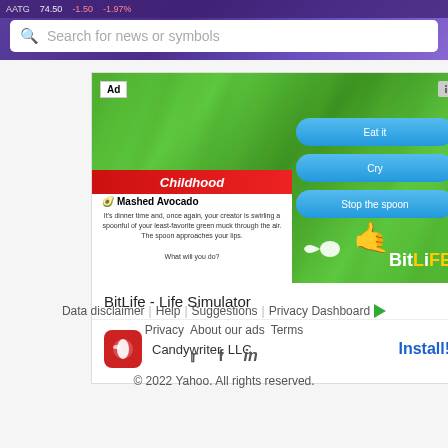Search for news or symbols
[Figure (screenshot): Advertisement for BitLife - Life Simulator app by Candywriter LLC. Shows a game screenshot with green leafy background, choice buttons (Eat it, Cry, Stop the spoon), a childhood scenario card about Mashed Avocado, and BitLife logo. Includes Ad label, Install button.]
BitLife - Life Simulator
Candywriter, LLC
Install!
Data disclaimer  Help  Suggestions  Privacy Dashboard  Privacy  About our ads  Terms  © 2022 Yahoo. All rights reserved.